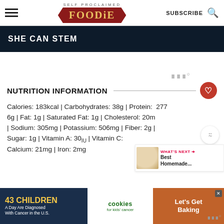SELF PROCLAIMED FOODIE | SUBSCRIBE
[Figure (illustration): SHE CAN STEM banner on dark navy background]
NUTRITION INFORMATION
Calories: 183kcal | Carbohydrates: 38g | Protein: 6g | Fat: 1g | Saturated Fat: 1g | Cholesterol: 20mg | Sodium: 305mg | Potassium: 506mg | Fiber: 2g | Sugar: 1g | Vitamin A: 30IU | Vitamin C: [partially obscured] | Calcium: 21mg | Iron: 2mg
[Figure (screenshot): WHAT'S NEXT arrow with Best Homemade... thumbnail]
[Figure (infographic): Ad banner: 43 CHILDREN A Day Are Diagnosed With Cancer in the U.S. | cookies for kids cancer | Let's Get Baking]